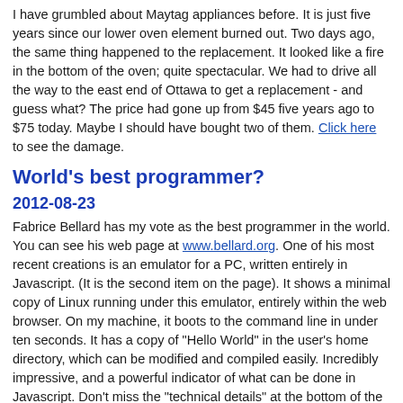I have grumbled about Maytag appliances before. It is just five years since our lower oven element burned out. Two days ago, the same thing happened to the replacement. It looked like a fire in the bottom of the oven; quite spectacular. We had to drive all the way to the east end of Ottawa to get a replacement - and guess what? The price had gone up from $45 five years ago to $75 today. Maybe I should have bought two of them. Click here to see the damage.
World's best programmer?
2012-08-23
Fabrice Bellard has my vote as the best programmer in the world. You can see his web page at www.bellard.org. One of his most recent creations is an emulator for a PC, written entirely in Javascript. (It is the second item on the page). It shows a minimal copy of Linux running under this emulator, entirely within the web browser. On my machine, it boots to the command line in under ten seconds. It has a copy of "Hello World" in the user's home directory, which can be modified and compiled easily. Incredibly impressive, and a powerful indicator of what can be done in Javascript. Don't miss the "technical details" at the bottom of the page for the emulator.
This project was done for fun. Much more serious is the QEMU emulator, which now forms the basis of Linux's LKM...